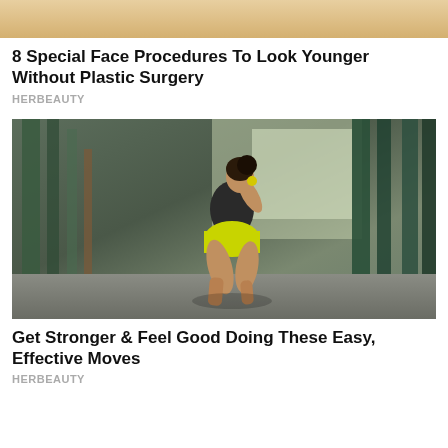[Figure (photo): Cropped top portion of a person's face with blonde hair, partially visible at top of page]
8 Special Face Procedures To Look Younger Without Plastic Surgery
HERBEAUTY
[Figure (photo): Woman in athletic wear (dark sports bra and yellow shorts) in a squat position in an industrial or abandoned building with green pillars]
Get Stronger & Feel Good Doing These Easy, Effective Moves
HERBEAUTY